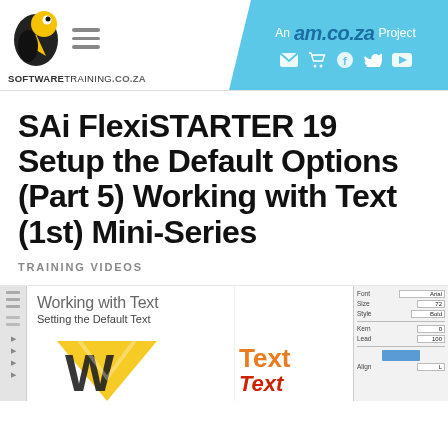[Figure (logo): SoftwareTraining.co.za logo with bird/arrow graphic and hamburger menu icon, alongside am.co.za blue banner header with social media icons]
SAi FlexiSTARTER 19 Setup the Default Options (Part 5) Working with Text (1st) Mini-Series
TRAINING VIDEOS
[Figure (screenshot): Thumbnail image showing 'Working with Text - Setting the Default Text' tutorial video screenshot with W letter graphic in yellow/black, Text labels in orange and red, and a settings panel on the right]